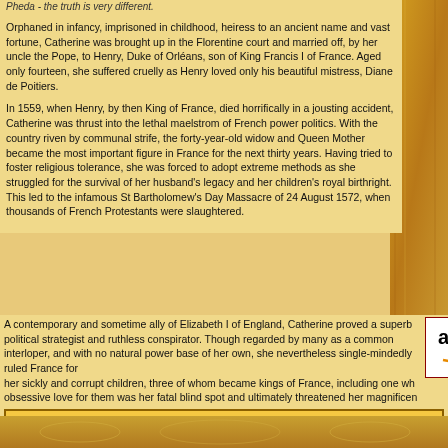Pheda - the truth is very different.
Orphaned in infancy, imprisoned in childhood, heiress to an ancient name and vast fortune, Catherine was brought up in the Florentine court and married off, by her uncle the Pope, to Henry, Duke of Orléans, son of King Francis I of France. Aged only fourteen, she suffered cruelly as Henry loved only his beautiful mistress, Diane de Poitiers.
In 1559, when Henry, by then King of France, died horrifically in a jousting accident, Catherine was thrust into the lethal maelstrom of French power politics. With the country riven by communal strife, the forty-year-old widow and Queen Mother became the most important figure in France for the next thirty years. Having tried to foster religious tolerance, she was forced to adopt extreme methods as she struggled for the survival of her husband's legacy and her children's royal birthright. This led to the infamous St Bartholomew's Day Massacre of 24 August 1572, when thousands of French Protestants were slaughtered.
A contemporary and sometime ally of Elizabeth I of England, Catherine proved a superb political strategist and ruthless conspirator. Though regarded by many as a common interloper, and with no natural power base of her own, she nevertheless single-mindedly ruled France for her sickly and corrupt children, three of whom became kings of France, including one wh… obsessive love for them was her fatal blind spot and ultimately threatened her magnificen…
[Figure (logo): Amazon.co.uk logo in a bordered white box]
Signed first editions are available from: Waterstone's in Leadenhall Market, 1 Whittington Avenue, L…
BUY 'Catherine de Medici' from AMAZON